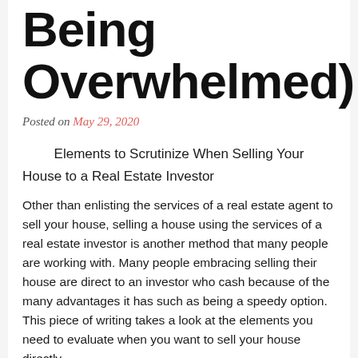Being Overwhelmed)
Posted on May 29, 2020
Elements to Scrutinize When Selling Your House to a Real Estate Investor
Other than enlisting the services of a real estate agent to sell your house, selling a house using the services of a real estate investor is another method that many people are working with. Many people embracing selling their house are direct to an investor who cash because of the many advantages it has such as being a speedy option. This piece of writing takes a look at the elements you need to evaluate when you want to sell your house directly